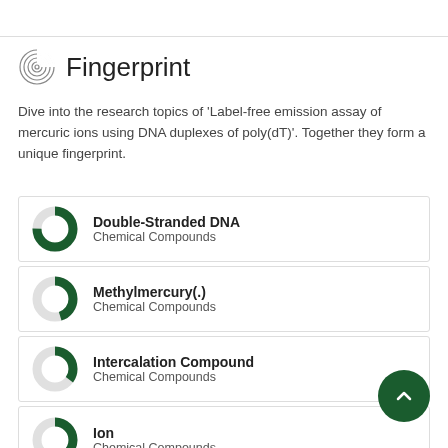Fingerprint
Dive into the research topics of 'Label-free emission assay of mercuric ions using DNA duplexes of poly(dT)'. Together they form a unique fingerprint.
Double-Stranded DNA
Chemical Compounds
Methylmercury(.)
Chemical Compounds
Intercalation Compound
Chemical Compounds
Ion
Chemical Compounds